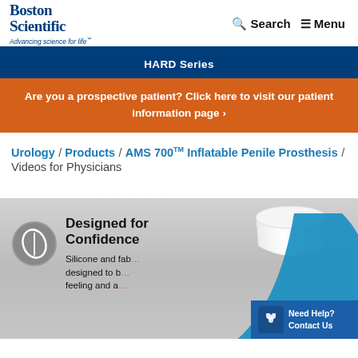Boston Scientific Advancing science for life™ | Search | Menu
HARD Series
Are you a prospective patient? Click here to visit our patient information page ›
Urology / Products / AMS 700™ Inflatable Penile Prosthesis / Videos for Physicians
[Figure (screenshot): Video thumbnail for AMS 700 Inflatable Penile Prosthesis showing 'Designed for Confidence' promotional image with silicone and fabric components, a leaf icon in a grey circle, a white cylindrical device shape, and a blue arc shape. A 'Need Help? Contact Us' button appears in the lower right corner.]